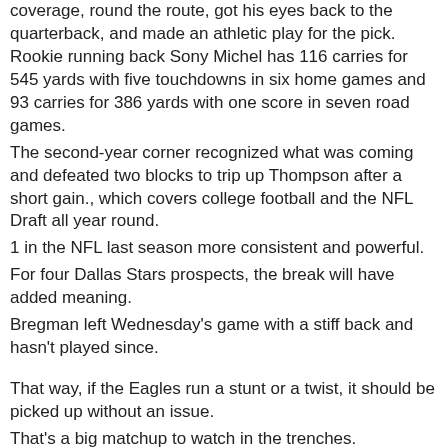coverage, round the route, got his eyes back to the quarterback, and made an athletic play for the pick. Rookie running back Sony Michel has 116 carries for 545 yards with five touchdowns in six home games and 93 carries for 386 yards with one score in seven road games.
The second-year corner recognized what was coming and defeated two blocks to trip up Thompson after a short gain., which covers college football and the NFL Draft all year round.
1 in the NFL last season more consistent and powerful.
For four Dallas Stars prospects, the break will have added meaning.
Bregman left Wednesday's game with a stiff back and hasn't played since.
That way, if the Eagles run a stunt or a twist, it should be picked up without an issue.
That's a big matchup to watch in the trenches.